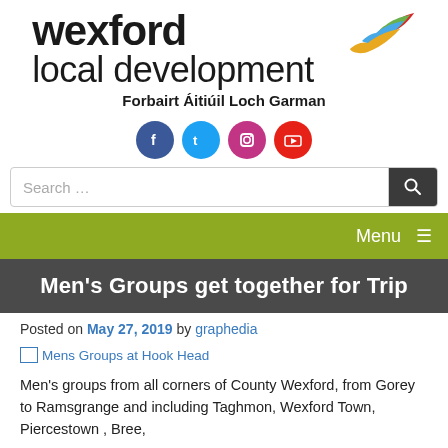[Figure (logo): Wexford Local Development logo with colorful feather/swoosh graphic and text 'wexford local development' plus tagline 'Forbairt Áitiúil Loch Garman']
[Figure (infographic): Social media icons: Facebook (dark blue), Twitter (light blue), Instagram (purple/pink), YouTube (red)]
[Figure (screenshot): Search bar with placeholder text 'Search ...' and search button]
Menu ≡
Men's Groups get together for Trip
Posted on May 27, 2019 by graphedia
[Figure (photo): Mens Groups at Hook Head (broken image placeholder)]
Men's groups from all corners of County Wexford, from Gorey to Ramsgrange and including Taghmon, Wexford Town, Piercestown, Bree,